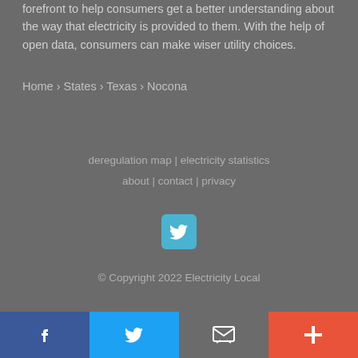forefront to help consumers get a better understanding about the way that electricity is provided to them. With the help of open data, consumers can make wiser utility choices.
Home › States › Texas › Nocona
deregulation map | electricity statistics
about | contact | privacy
[Figure (logo): Twitter bird icon in a cyan/blue rounded square button]
© Copyright 2022 Electricity Local
Facebook | Twitter | Email | Plus social share bar